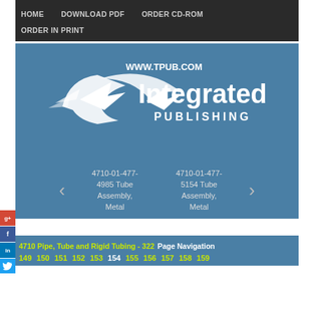HOME   DOWNLOAD PDF   ORDER CD-ROM   ORDER IN PRINT
[Figure (logo): Integrated Publishing logo with bird/arrow graphic and text WWW.TPUB.COM Integrated PUBLISHING on blue background]
4710-01-477-4985 Tube Assembly, Metal
4710-01-477-5154 Tube Assembly, Metal
4710 Pipe, Tube and Rigid Tubing - 322 Page Navigation 149 150 151 152 153 154 155 156 157 158 159